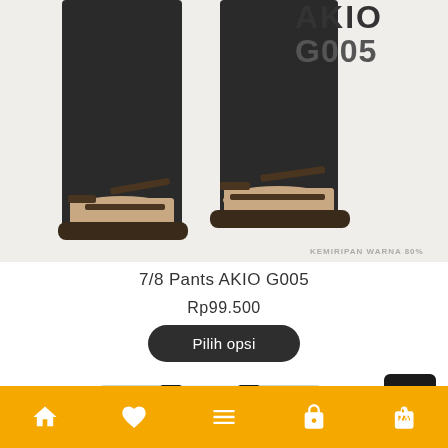[Figure (photo): Product photo showing lower legs of a person wearing dark cropped 7/8 pants and olive green sandals, with brand text AKIO G005 in top right corner and KEMIRIPAN WARNA 80% watermark at bottom right]
7/8 Pants AKIO G005
Rp99.500
Pilih opsi
[Figure (photo): Partial product thumbnail showing another clothing item, cropped at bottom of page]
Home | Wishlist | Menu | Cart | Bag (bottom navigation bar)